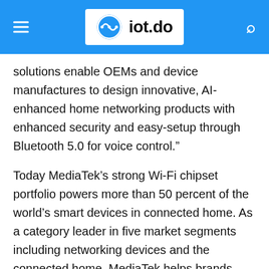iot.do
solutions enable OEMs and device manufactures to design innovative, AI-enhanced home networking products with enhanced security and easy-setup through Bluetooth 5.0 for voice control.”
Today MediaTek’s strong Wi-Fi chipset portfolio powers more than 50 percent of the world’s smart devices in connected home. As a category leader in five market segments including networking devices and the connected home, MediaTek helps brands around the globe navigate the changing electronics landscape and deliver smart, connected products that make consumers’ lives easier.